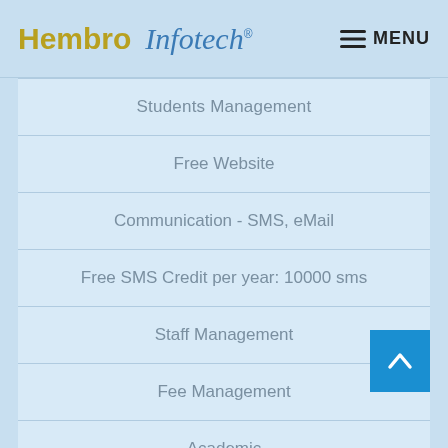[Figure (logo): Hembro Infotech logo with gold HEMBRO text and blue italic Infotech text with registered trademark symbol]
Students Management
Free Website
Communication - SMS, eMail
Free SMS Credit per year: 10000 sms
Staff Management
Fee Management
Academic
Report Card Management
Exam Schedule